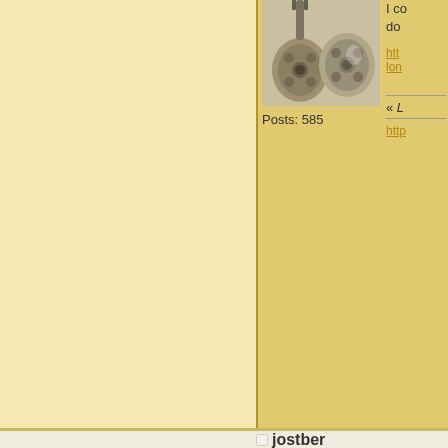[Figure (photo): Two resonator guitars (metallic, decorative) on a light background, cropped at top]
Posts: 585
I co do
http lon
« L
http
jostber
Member
[Figure (illustration): Stylized illustration of a blues guitarist (man in suit with glasses playing guitar) on red background]
Posts: 672
« R 06:
Th my
http lon
« L
harriet